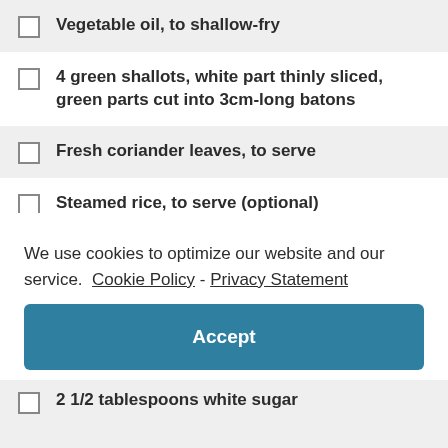Vegetable oil, to shallow-fry
4 green shallots, white part thinly sliced, green parts cut into 3cm-long batons
Fresh coriander leaves, to serve
Steamed rice, to serve (optional) Three-flavoured sauce
3 fresh long red chillies, coarsely
We use cookies to optimize our website and our service.  Cookie Policy - Privacy Statement
Accept
2 1/2 tablespoons white sugar